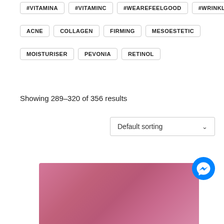#VITAMINA #VITAMINC #WEAREFEELGOOD #WRINKLES
ACNE COLLAGEN FIRMING MESOESTETIC
MOISTURISER PEVONIA RETINOL
Showing 289–320 of 356 results
Default sorting
[Figure (photo): Pink/mauve cosmetic product jar or container, partially visible at bottom of page, with a Facebook Messenger chat icon overlay in the lower right.]